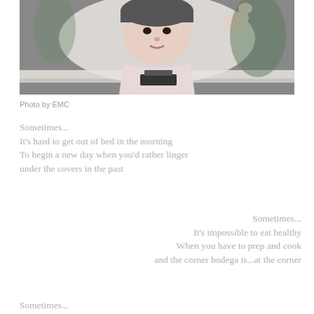[Figure (photo): A baby/toddler wearing a dark helmet/hat, dressed in a light pink outfit, pressing hand against a window or glass surface. A small black object (possibly a typewriter or toy) is visible at the bottom center of the image.]
Photo by EMC
Sometimes...
It's hard to get out of bed in the morning
To begin a new day when you'd rather linger
under the covers in the past
Sometimes...
It's impossible to eat healthy
When you have to prep and cook
and the corner bodega is...at the corner
Sometimes...